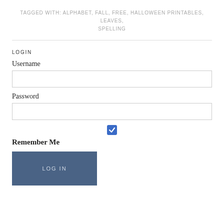TAGGED WITH: ALPHABET, FALL, FREE, HALLOWEEN PRINTABLES, LEAVES, SPELLING
LOGIN
Username
Password
Remember Me
LOG IN